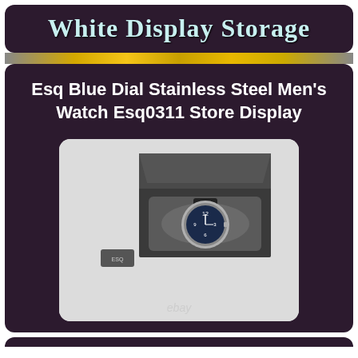White Display Storage
Esq Blue Dial Stainless Steel Men's Watch Esq0311 Store Display
[Figure (photo): Photo of an ESQ blue dial stainless steel men's watch in an open dark gray presentation box, with a small ESQ card/tag beside it. The watch has a blue dial with silver numerals. An eBay watermark appears at the bottom of the image.]